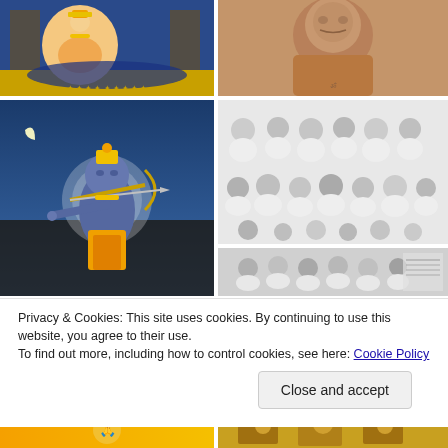[Figure (photo): Hindu deity baby Krishna illustration with ornate background in blue and gold]
[Figure (photo): Elderly person lying down, black and white or sepia photo]
[Figure (photo): Hindu deity Lord Krishna as warrior with bow and arrow, Mahabharata battle scene illustration]
[Figure (photo): Group of people in white clothing, black and white photos collage]
Privacy & Cookies: This site uses cookies. By continuing to use this website, you agree to their use.
To find out more, including how to control cookies, see here: Cookie Policy
Close and accept
[Figure (photo): Bottom left image with orange/yellow gradient, religious scene]
[Figure (photo): Bottom right image with gold tones, religious deity figures]